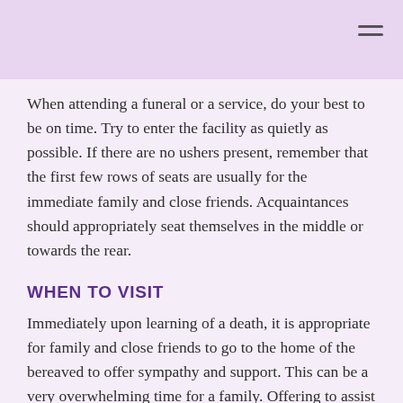When attending a funeral or a service, do your best to be on time. Try to enter the facility as quietly as possible. If there are no ushers present, remember that the first few rows of seats are usually for the immediate family and close friends. Acquaintances should appropriately seat themselves in the middle or towards the rear.
WHEN TO VISIT
Immediately upon learning of a death, it is appropriate for family and close friends to go to the home of the bereaved to offer sympathy and support. This can be a very overwhelming time for a family. Offering to assist with child care, food preparation, receiving visitors, or service